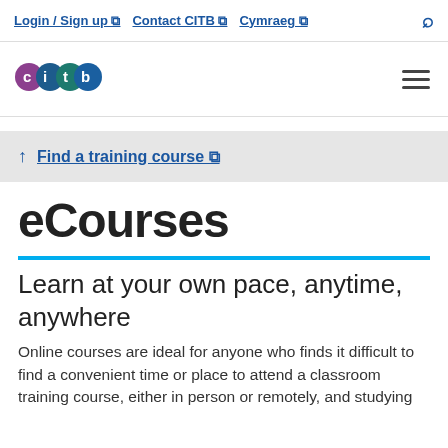Login / Sign up  Contact CITB  Cymraeg
[Figure (logo): CITB logo — coloured circles spelling 'citb']
Find a training course
eCourses
Learn at your own pace, anytime, anywhere
Online courses are ideal for anyone who finds it difficult to find a convenient time or place to attend a classroom training course, either in person or remotely, and studying